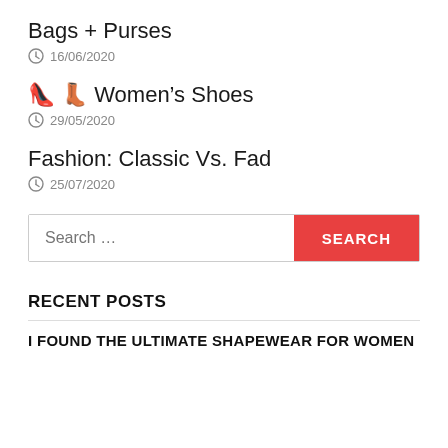Bags + Purses
16/06/2020
👠 👢 Women's Shoes
29/05/2020
Fashion: Classic Vs. Fad
25/07/2020
Search …
RECENT POSTS
I FOUND THE ULTIMATE SHAPEWEAR FOR WOMEN